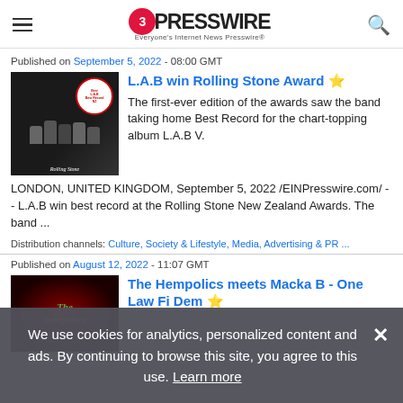EINPresswire — Everyone's Internet News Presswire
Published on September 5, 2022 - 08:00 GMT
[Figure (photo): Photo of L.A.B band members with Rolling Stone award badge]
L.A.B win Rolling Stone Award ⭐
The first-ever edition of the awards saw the band taking home Best Record for the chart-topping album L.A.B V. LONDON, UNITED KINGDOM, September 5, 2022 /EINPresswire.com/ -- L.A.B win best record at the Rolling Stone New Zealand Awards. The band ...
Distribution channels: Culture, Society & Lifestyle, Media, Advertising & PR ...
Published on August 12, 2022 - 11:07 GMT
[Figure (photo): The Hempolics album cover art]
The Hempolics meets Macka B - One Law Fi Dem ⭐
We use cookies for analytics, personalized content and ads. By continuing to browse this site, you agree to this use. Learn more